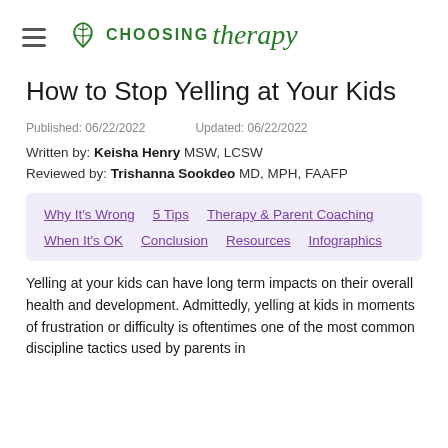CHOOSING therapy
How to Stop Yelling at Your Kids
Published: 06/22/2022   Updated: 06/22/2022
Written by: Keisha Henry MSW, LCSW
Reviewed by: Trishanna Sookdeo MD, MPH, FAAFP
Why It's Wrong
5 Tips
Therapy & Parent Coaching
When It's OK
Conclusion
Resources
Infographics
Yelling at your kids can have long term impacts on their overall health and development. Admittedly, yelling at kids in moments of frustration or difficulty is oftentimes one of the most common discipline tactics used by parents in